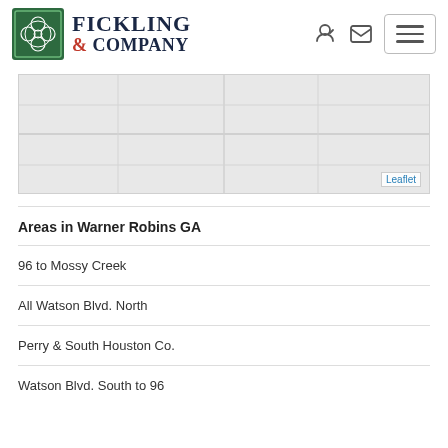[Figure (logo): Fickling & Company real estate logo with green square icon and serif text]
[Figure (map): Leaflet map showing Warner Robins GA area, light gray background]
Areas in Warner Robins GA
96 to Mossy Creek
All Watson Blvd. North
Perry & South Houston Co.
Watson Blvd. South to 96